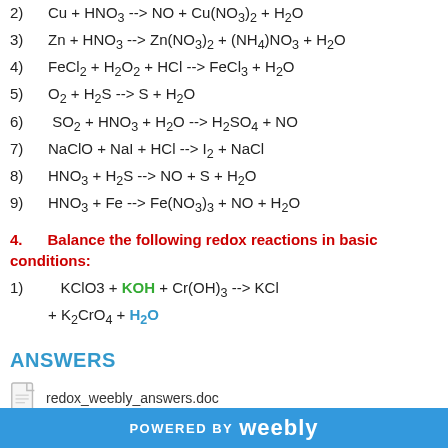2) Cu + HNO3 --> NO + Cu(NO3)2 + H2O
3) Zn + HNO3 --> Zn(NO3)2 + (NH4)NO3 + H2O
4) FeCl2 + H2O2 + HCl --> FeCl3 + H2O
5) O2 + H2S --> S + H2O
6) SO2 + HNO3 + H2O --> H2SO4 + NO
7) NaClO + NaI + HCl --> I2 + NaCl
8) HNO3 + H2S --> NO + S + H2O
9) HNO3 + Fe --> Fe(NO3)3 + NO + H2O
4. Balance the following redox reactions in basic conditions:
1) KClO3 + KOH + Cr(OH)3 --> KCl + K2CrO4 + H2O
ANSWERS
redox_weebly_answers.doc
POWERED BY weebly